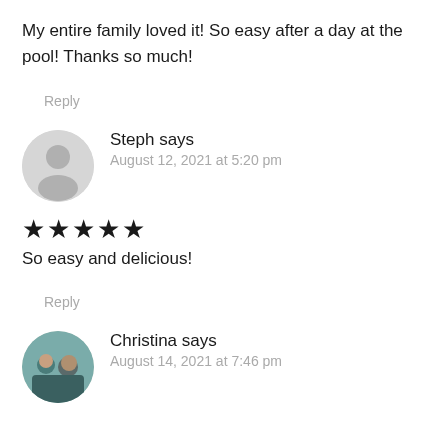My entire family loved it! So easy after a day at the pool! Thanks so much!
Reply
Steph says
August 12, 2021 at 5:20 pm
★★★★★
So easy and delicious!
Reply
Christina says
August 14, 2021 at 7:46 pm